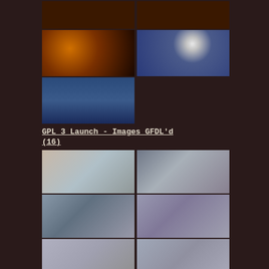[Figure (photo): Top row: two photos of people at a dark venue/bar event]
[Figure (photo): Middle row: two photos of dimly lit bar/venue with performers on stage, orange lighting and white globe light]
[Figure (photo): Single photo of blue-decorated stage with two people presenting]
GPL 3 Launch - Images GFDL'd
(16)
[Figure (photo): Two people talking in an office/event space; stacked boxes of software]
[Figure (photo): Interview room scene; long-haired man being interviewed]
[Figure (photo): Bottom partial row of two more photos]